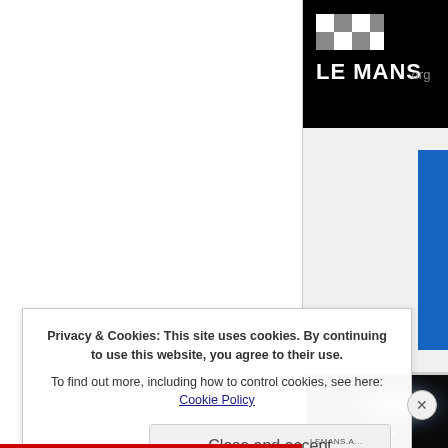[Figure (logo): Le Mans .org logo on black background, white checkered flag style icon with 'LE MANS.org' text]
[Figure (photo): Dark nighttime photo with bright headlight or spotlight visible, appears to be motorsport/racing related]
Privacy & Cookies: This site uses cookies. By continuing to use this website, you agree to their use.
To find out more, including how to control cookies, see here: Cookie Policy